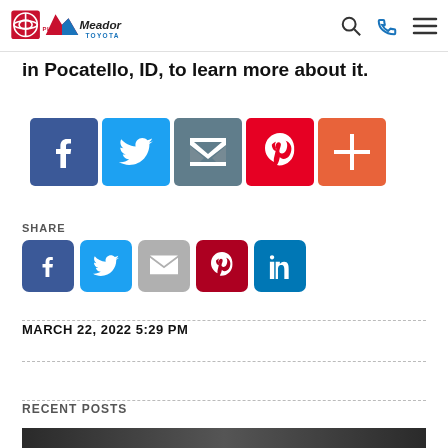Phil Meador Toyota
in Pocatello, ID, to learn more about it.
[Figure (infographic): Large social share buttons: Facebook (blue), Twitter (light blue), Email (gray), Pinterest (red), Plus/more (orange-red)]
SHARE
[Figure (infographic): Small social share buttons: Facebook, Twitter, Gmail, Pinterest, LinkedIn]
MARCH 22, 2022 5:29 PM
RECENT POSTS
[Figure (photo): Partial bottom image strip - bottom of page]